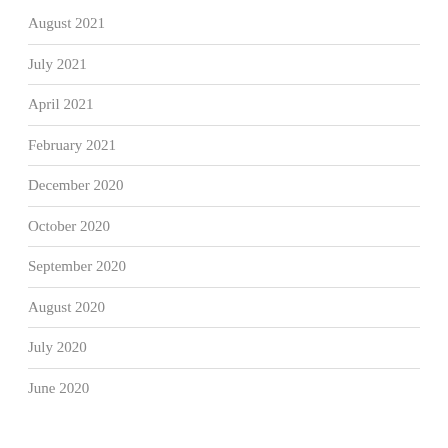August 2021
July 2021
April 2021
February 2021
December 2020
October 2020
September 2020
August 2020
July 2020
June 2020